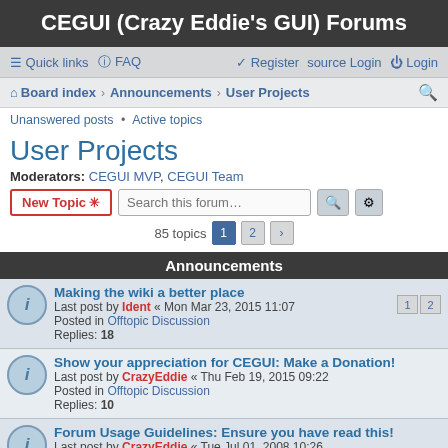CEGUI (Crazy Eddie's GUI) Forums
Quick links • FAQ • Register • Login
Board index › Announcements › User Projects
Unanswered posts • Active topics
User Projects
Moderators: CEGUI MVP, CEGUI Team
New Topic | Search this forum...
85 topics — Page 1 2 >
Announcements
Making the wiki a better place
Last post by Ident « Mon Mar 23, 2015 11:07
Posted in Offtopic Discussion
Replies: 18
Show your appreciation for CEGUI: Make a Donation!
Last post by CrazyEddie « Thu Feb 19, 2015 09:22
Posted in Offtopic Discussion
Replies: 10
Forum Usage Guidelines: Ensure you have read this!
Last post by CrazyEddie « Tue Jul 01, 2008 10:26